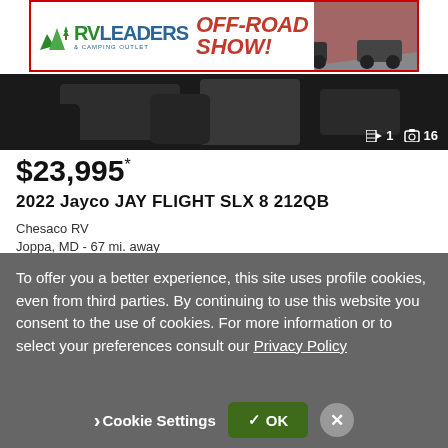[Figure (illustration): RV Leaders & Camping Outlet Off-Road Show advertisement banner with mountain/tree logo and red off-road vehicles]
[Figure (photo): Interior photo of an RV with dark seating, showing media count overlay: 1 video, 16 photos]
$23,995*
2022 Jayco JAY FLIGHT SLX 8 212QB
Chesaco RV
Joppa, MD - 67 mi. away
Chat
Email
Call
To offer you a better experience, this site uses profile cookies, even from third parties. By continuing to use this website you consent to the use of cookies. For more information or to select your preferences consult our Privacy Policy
Cookie Settings
✓ OK